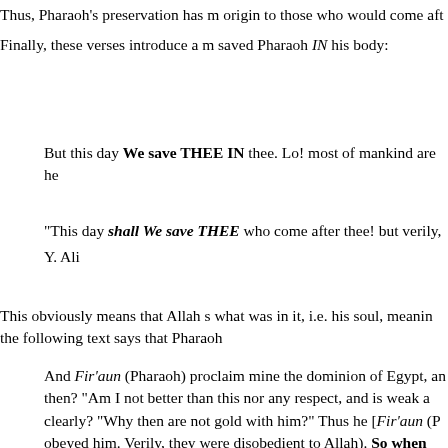Thus, Pharaoh's preservation has m origin to those who would come aft
Finally, these verses introduce a m saved Pharaoh IN his body:
But this day We save THEE IN thee. Lo! most of mankind are he
"This day shall We save THEE who come after thee! but verily, Y. Ali
This obviously means that Allah s what was in it, i.e. his soul, meanin the following text says that Pharaoh
And Fir'aun (Pharaoh) proclaim mine the dominion of Egypt, an then? "Am I not better than this nor any respect, and is weak a clearly? "Why then are not gold with him?" Thus he [Fir'aun (P obeyed him. Verily, they were disobedient to Allah). So when